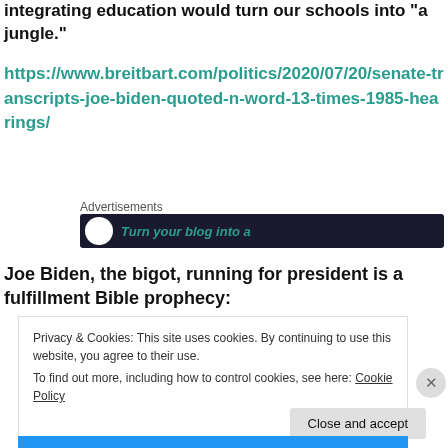integrating education would turn our schools into “a jungle.”
https://www.breitbart.com/politics/2020/07/20/senate-transcripts-joe-biden-quoted-n-word-13-times-1985-hearings/
[Figure (other): Advertisement banner with dark background showing partial text 'Turn your blog into a']
Joe Biden, the bigot, running for president is a fulfillment Bible prophecy:
Privacy & Cookies: This site uses cookies. By continuing to use this website, you agree to their use.
To find out more, including how to control cookies, see here: Cookie Policy
Close and accept